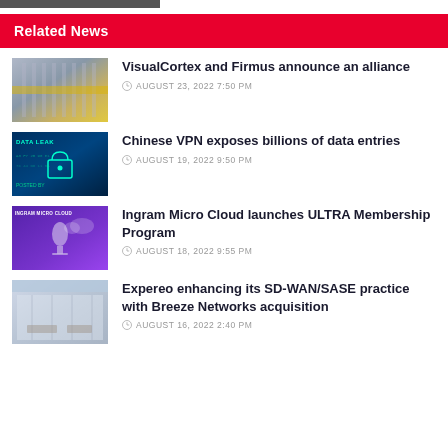Related News
[Figure (photo): Data center corridor with yellow floor lighting]
VisualCortex and Firmus announce an alliance
AUGUST 23, 2022 7:50 PM
[Figure (photo): Data leak security concept with padlock on digital background]
Chinese VPN exposes billions of data entries
AUGUST 19, 2022 9:50 PM
[Figure (photo): Ingram Micro Cloud logo with purple background and microphone]
Ingram Micro Cloud launches ULTRA Membership Program
AUGUST 18, 2022 9:55 PM
[Figure (photo): Modern office interior with large windows]
Expereo enhancing its SD-WAN/SASE practice with Breeze Networks acquisition
AUGUST 16, 2022 2:40 PM